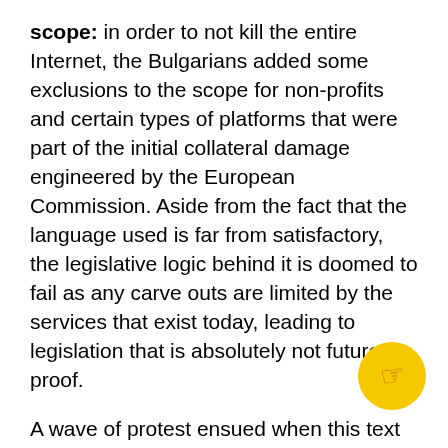scope: in order to not kill the entire Internet, the Bulgarians added some exclusions to the scope for non-profits and certain types of platforms that were part of the initial collateral damage engineered by the European Commission. Aside from the fact that the language used is far from satisfactory, the legislative logic behind it is doomed to fail as any carve outs are limited by the services that exist today, leading to legislation that is absolutely not future-proof.
A wave of protest ensued when this text was published as these requirements cannot be complied with.
But then, the Mediterraneans decided to go one step further.
FRANCE, SPAIN, ITALY AND PORTUGAL: CAN WE PROPOSE